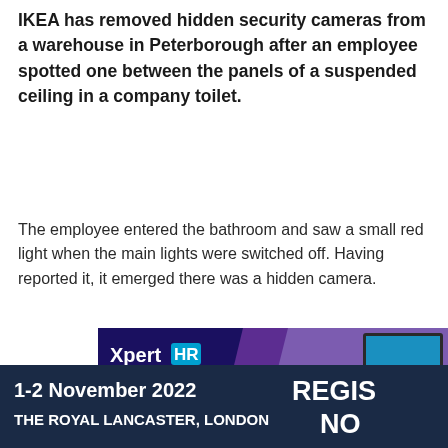IKEA has removed hidden security cameras from a warehouse in Peterborough after an employee spotted one between the panels of a suspended ceiling in a company toilet.
The employee entered the bathroom and saw a small red light when the main lights were switched off. Having reported it, it emerged there was a hidden camera.
[Figure (advertisement): XpertHR advertisement banner showing logo and 'How to lead a flexible' headline with office meeting photo background]
[Figure (advertisement): Dark navy footer banner reading '1-2 November 2022 / THE ROYAL LANCASTER, LONDON' on the left and 'REGISTER NOW' on the right]